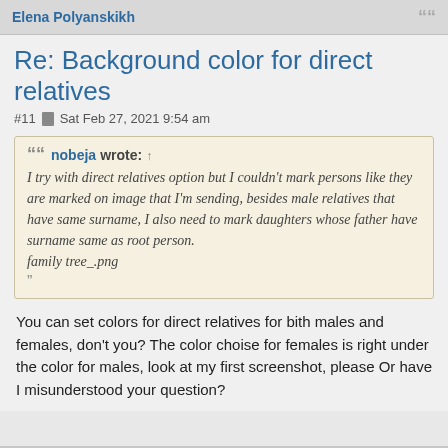Elena Polyanskikh
Re: Background color for direct relatives
#11  Sat Feb 27, 2021 9:54 am
nobeja wrote: ↑
I try with direct relatives option but I couldn't mark persons like they are marked on image that I'm sending, besides male relatives that have same surname, I also need to mark daughters whose father have surname same as root person.
family tree_.png
"
You can set colors for direct relatives for bith males and females, don't you? The color choise for females is right under the color for males, look at my first screenshot, please Or have I misunderstood your question?